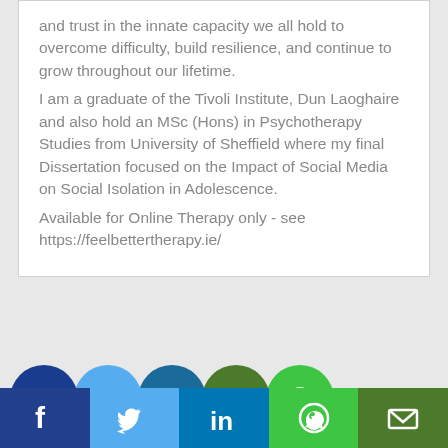and trust in the innate capacity we all hold to overcome difficulty, build resilience, and continue to grow throughout our lifetime.
I am a graduate of the Tivoli Institute, Dun Laoghaire and also hold an MSc (Hons) in Psychotherapy Studies from University of Sheffield where my final Dissertation focused on the Impact of Social Media on Social Isolation in Adolescence.
Available for Online Therapy only - see https://feelbettertherapy.ie/
[Figure (infographic): Row of social media icon circles: Facebook (dark blue), Twitter (light blue), LinkedIn (dark blue), Email (dark green), WhatsApp (green). Below row: a larger WhatsApp teal circle.]
[Figure (infographic): Footer bar with five social media sections: Facebook (dark blue with f icon), Twitter (light blue with bird icon), LinkedIn (medium blue with in icon), WhatsApp (green with phone icon), Email (dark green with envelope icon).]